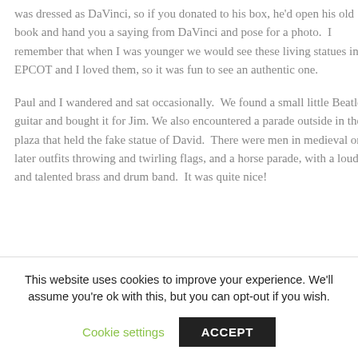was dressed as DaVinci, so if you donated to his box, he'd open his old book and hand you a saying from DaVinci and pose for a photo.  I remember that when I was younger we would see these living statues in EPCOT and I loved them, so it was fun to see an authentic one.
Paul and I wandered and sat occasionally.  We found a small little Beatles guitar and bought it for Jim. We also encountered a parade outside in the plaza that held the fake statue of David.  There were men in medieval or later outfits throwing and twirling flags, and a horse parade, with a loud and talented brass and drum band.  It was quite nice!
This website uses cookies to improve your experience. We'll assume you're ok with this, but you can opt-out if you wish.
Cookie settings | ACCEPT